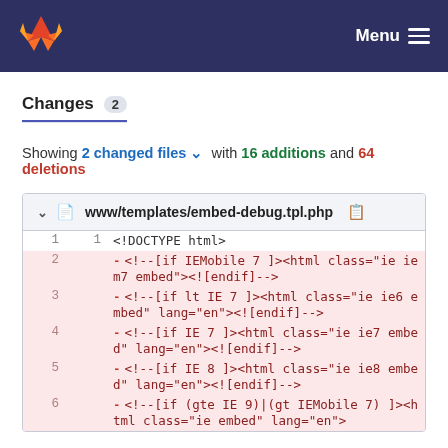Menu
Changes 2
Showing 2 changed files with 16 additions and 64 deletions
| old | new | code |
| --- | --- | --- |
| 1 | 1 | <!DOCTYPE html> |
| 2 |  | - <!--[if IEMobile 7 ]><html class="ie iem7 embed"><!--[endif]--> |
| 3 |  | - <!--[if lt IE 7 ]><html class="ie ie6 embed" lang="en"><!--[endif]--> |
| 4 |  | - <!--[if IE 7 ]><html class="ie ie7 embed" lang="en"><!--[endif]--> |
| 5 |  | - <!--[if IE 8 ]><html class="ie ie8 embed" lang="en"><!--[endif]--> |
| 6 |  | - <!--[if (gte IE 9)|(gt IEMobile 7) ]><html class="ie embed" lang="en"> |